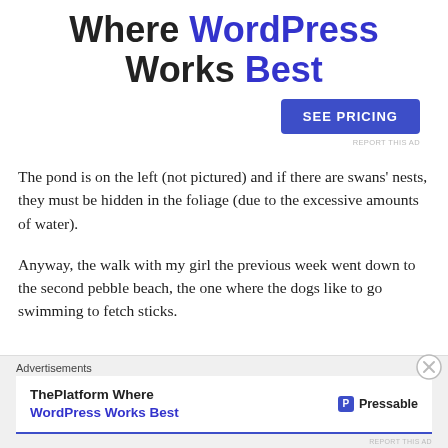[Figure (other): Advertisement banner: 'Where WordPress Works Best' with 'SEE PRICING' button and 'REPORT THIS AD' link]
The pond is on the left (not pictured) and if there are swans' nests, they must be hidden in the foliage (due to the excessive amounts of water).
Anyway, the walk with my girl the previous week went down to the second pebble beach, the one where the dogs like to go swimming to fetch sticks.
[Figure (other): Bottom advertisement: 'Advertisements' label above ad banner reading 'ThePlatform Where WordPress Works Best' with Pressable logo]